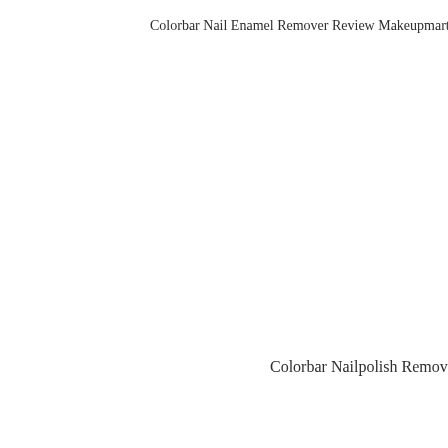Colorbar Nail Enamel Remover Review Makeupmartini
Colorbar Nailpolish Remover Review